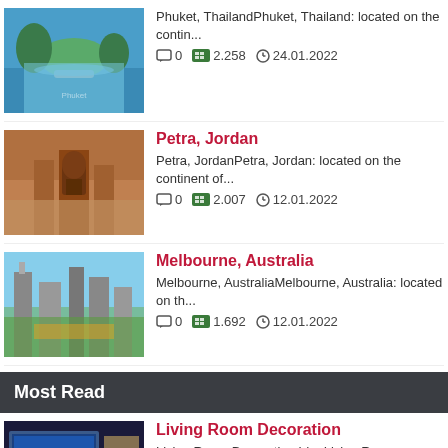Phuket, ThailandPhuket, Thailand: located on the contin... 0  2.258  24.01.2022
Petra, Jordan
Petra, JordanPetra, Jordan: located on the continent of... 0  2.007  12.01.2022
Melbourne, Australia
Melbourne, AustraliaMelbourne, Australia: located on th... 0  1.692  12.01.2022
Most Read
Living Room Decoration
Living Room Decoration IdeaLiving Room Decoration IdeaL... 0  51.000  25.12.2021